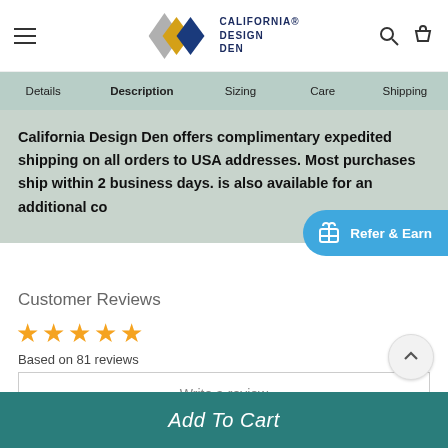[Figure (logo): California Design Den logo with diamond shapes (gray, yellow, dark blue) and text CALIFORNIA DESIGN DEN]
Details  Description  Sizing  Care  Shipping
California Design Den offers complimentary expedited shipping on all orders to USA addresses. Most purchases ship within 2 business days. is also available for an additional co
Refer & Earn
Customer Reviews
★★★★★
Based on 81 reviews
Write a review
Add To Cart